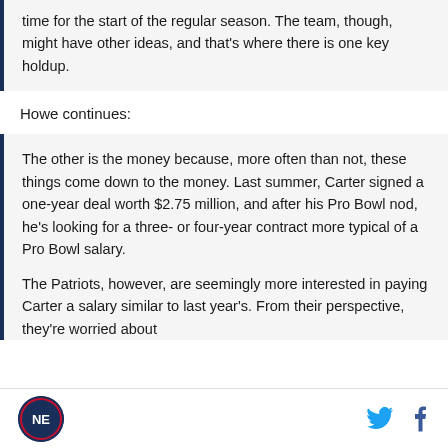time for the start of the regular season. The team, though, might have other ideas, and that's where there is one key holdup.
Howe continues:
The other is the money because, more often than not, these things come down to the money. Last summer, Carter signed a one-year deal worth $2.75 million, and after his Pro Bowl nod, he's looking for a three- or four-year contract more typical of a Pro Bowl salary.
The Patriots, however, are seemingly more interested in paying Carter a salary similar to last year's. From their perspective, they're worried about
[logo] [twitter] [facebook]